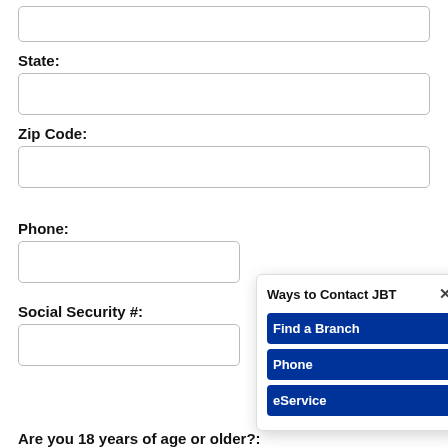State:
Zip Code:
Phone:
Social Security #:
[Figure (screenshot): Popup dialog titled 'Ways to Contact JBT' with a close X button and three blue buttons: 'Find a Branch', 'Phone', 'eService']
Are you 18 years of age or older?: